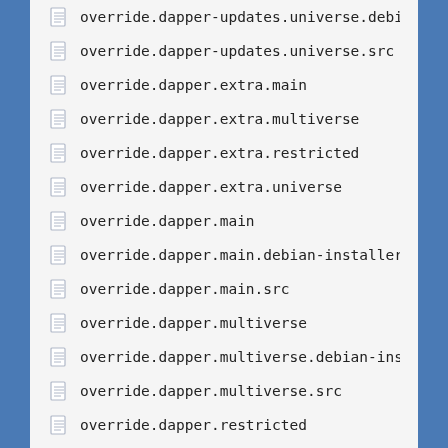override.dapper-updates.universe.debia…
override.dapper-updates.universe.src
override.dapper.extra.main
override.dapper.extra.multiverse
override.dapper.extra.restricted
override.dapper.extra.universe
override.dapper.main
override.dapper.main.debian-installer
override.dapper.main.src
override.dapper.multiverse
override.dapper.multiverse.debian-insta…
override.dapper.multiverse.src
override.dapper.restricted
override.dapper.restricted.debian-insta…
override.dapper.restricted.src
override.dapper.universe